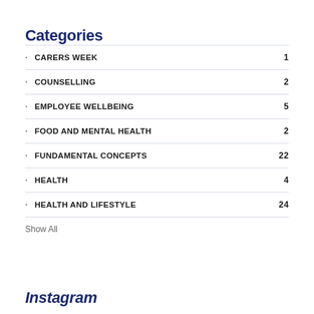Categories
CARERS WEEK  1
COUNSELLING  2
EMPLOYEE WELLBEING  5
FOOD AND MENTAL HEALTH  2
FUNDAMENTAL CONCEPTS  22
HEALTH  4
HEALTH AND LIFESTYLE  24
Show All
Instagram